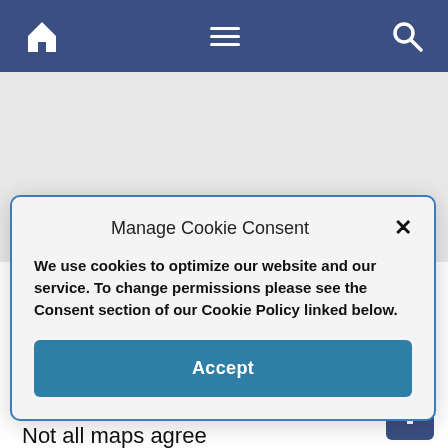[Figure (screenshot): Mobile website navigation bar with home icon, hamburger menu icon, and search icon on a dark blue background]
[Figure (screenshot): Carousel dot indicators on a light gray background]
Manage Cookie Consent
We use cookies to optimize our website and our service. To change permissions please see the Consent section of our Cookie Policy linked below.
Accept
coming from Vallarta would probably take the road leading west from El Tuito.
To check things out on the web, go to “Cabo Corrientes” and take it from there. Not all maps agree